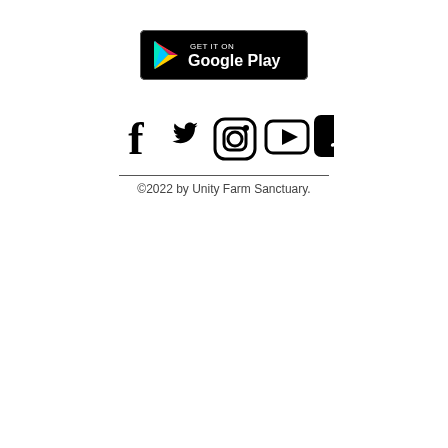[Figure (logo): Google Play Store badge - GET IT ON Google Play button with Play Store triangle logo in color (red, green, yellow, blue)]
[Figure (infographic): Row of social media icons: Facebook (f), Twitter (bird), Instagram (camera outline), YouTube (play button), TikTok (music note on black rounded square)]
©2022 by Unity Farm Sanctuary.